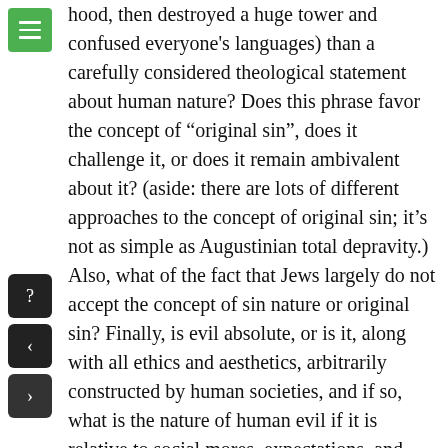hood, then destroyed a huge tower and confused everyone's languages) than a carefully considered theological statement about human nature? Does this phrase favor the concept of “original sin”, does it challenge it, or does it remain ambivalent about it? (aside: there are lots of different approaches to the concept of original sin; it’s not as simple as Augustinian total depravity.) Also, what of the fact that Jews largely do not accept the concept of sin nature or original sin? Finally, is evil absolute, or is it, along with all ethics and aesthetics, arbitrarily constructed by human societies, and if so, what is the nature of human evil if it is relative to social mores, expectations, and prohibitions rather than cosmic law? Or is the sociality of heaven yet another organization